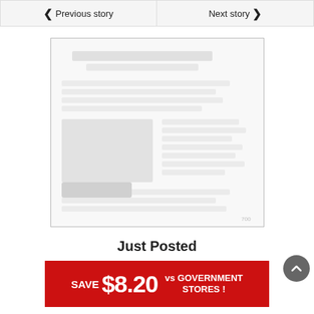< Previous story
Next story >
[Figure (screenshot): A blurred/redacted article image with watermarked content inside a bordered rectangle]
Just Posted
[Figure (infographic): Red advertisement banner: SAVE $8.20 vs GOVERNMENT STORES!]